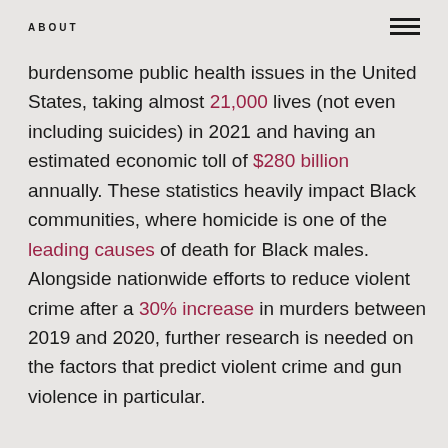ABOUT
burdensome public health issues in the United States, taking almost 21,000 lives (not even including suicides) in 2021 and having an estimated economic toll of $280 billion annually. These statistics heavily impact Black communities, where homicide is one of the leading causes of death for Black males. Alongside nationwide efforts to reduce violent crime after a 30% increase in murders between 2019 and 2020, further research is needed on the factors that predict violent crime and gun violence in particular.